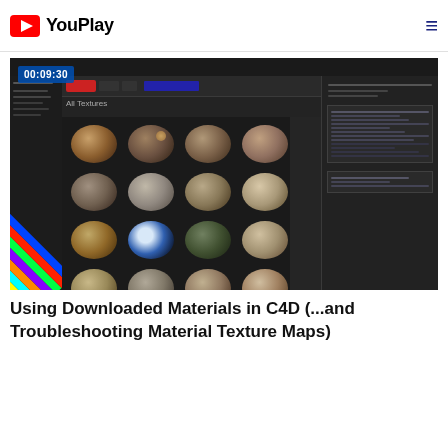YouPlay
[Figure (screenshot): Cinema 4D interface screenshot showing a material browser with a 4x4 grid of 3D sphere material previews including various textures like rock, earth, sand, and organic materials. Timestamp 00:09:30 shown in top-left corner of video thumbnail.]
Using Downloaded Materials in C4D (...and Troubleshooting Material Texture Maps)